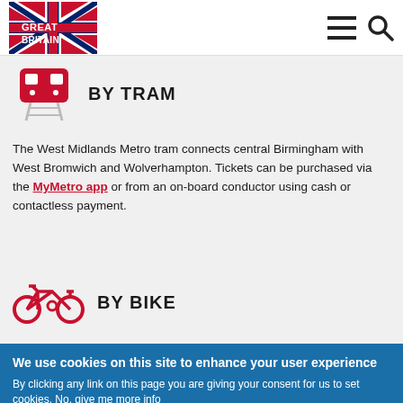[Figure (logo): Great Britain logo with Union Jack flag on red background]
BY TRAM
The West Midlands Metro tram connects central Birmingham with West Bromwich and Wolverhampton. Tickets can be purchased via the MyMetro app or from an on-board conductor using cash or contactless payment.
BY BIKE
We use cookies on this site to enhance your user experience
By clicking any link on this page you are giving your consent for us to set cookies. No, give me more info
OK, I agree